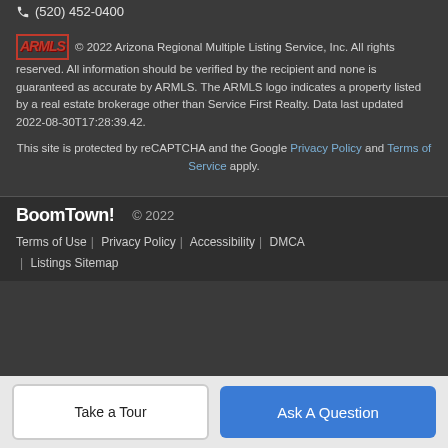(520) 452-0400
© 2022 Arizona Regional Multiple Listing Service, Inc. All rights reserved. All information should be verified by the recipient and none is guaranteed as accurate by ARMLS. The ARMLS logo indicates a property listed by a real estate brokerage other than Service First Realty. Data last updated 2022-08-30T17:28:39.42.
This site is protected by reCAPTCHA and the Google Privacy Policy and Terms of Service apply.
BoomTown! © 2022
Terms of Use | Privacy Policy | Accessibility | DMCA | Listings Sitemap
Take a Tour
Ask A Question